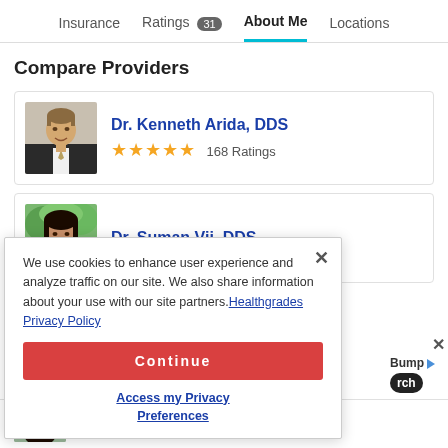Insurance  Ratings 31  About Me  Locations
Compare Providers
[Figure (photo): Headshot of Dr. Kenneth Arida, DDS – middle-aged man in suit smiling]
Dr. Kenneth Arida, DDS
★★★★★ 168 Ratings
[Figure (photo): Headshot of Dr. Suman Vii, DDS – woman with dark hair outdoors]
Dr. Suman Vii, DDS
We use cookies to enhance user experience and analyze traffic on our site. We also share information about your use with our site partners. Healthgrades Privacy Policy
Continue
Access my Privacy Preferences
[Figure (other): Bump logo with play triangle icon and 'rch' pill button]
[Figure (photo): Partial headshot of Dr. Mark Khaimov, DDS]
Dr. Mark Khaimov, DDS